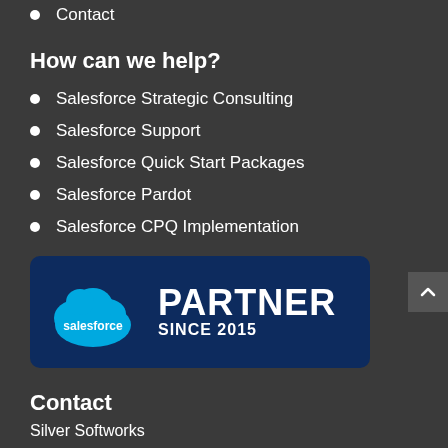Contact
How can we help?
Salesforce Strategic Consulting
Salesforce Support
Salesforce Quick Start Packages
Salesforce Pardot
Salesforce CPQ Implementation
[Figure (logo): Salesforce Partner Since 2015 badge — dark navy blue rounded rectangle with Salesforce cloud logo on the left and 'PARTNER SINCE 2015' text on the right]
Contact
Silver Softworks